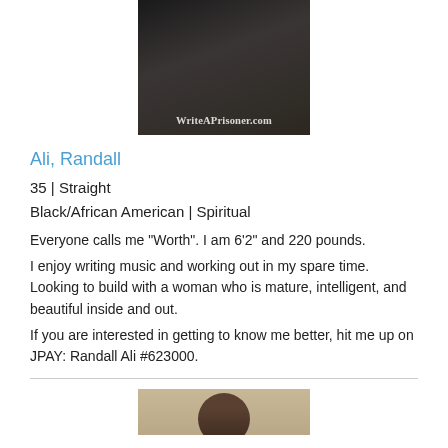[Figure (photo): Photo of Randall Ali, cropped showing leather jacket, with WriteAPrisoner.com watermark at bottom]
Ali, Randall
35 | Straight
Black/African American | Spiritual
Everyone calls me "Worth". I am 6'2" and 220 pounds.
I enjoy writing music and working out in my spare time. Looking to build with a woman who is mature, intelligent, and beautiful inside and out.
If you are interested in getting to know me better, hit me up on JPAY: Randall Ali #623000.
[Figure (photo): Bottom portion of a second profile photo showing top of person's head]